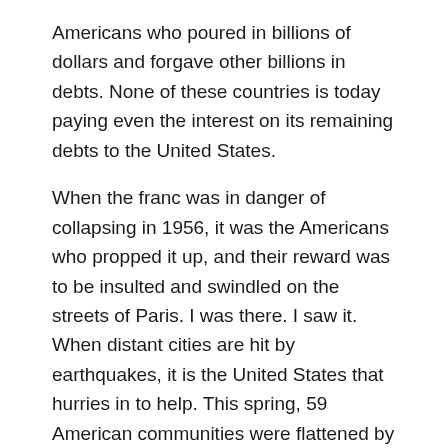Americans who poured in billions of dollars and forgave other billions in debts. None of these countries is today paying even the interest on its remaining debts to the United States.
When the franc was in danger of collapsing in 1956, it was the Americans who propped it up, and their reward was to be insulted and swindled on the streets of Paris. I was there. I saw it. When distant cities are hit by earthquakes, it is the United States that hurries in to help. This spring, 59 American communities were flattened by tornadoes. Nobody helped.
The Marshall Plan and the Truman Policy pumped billions of dollars into discouraged countries. Now newspapers in those countries are writing about the decadent, warmongering Americans. I’d like to see just one of those countries that is gloating over the